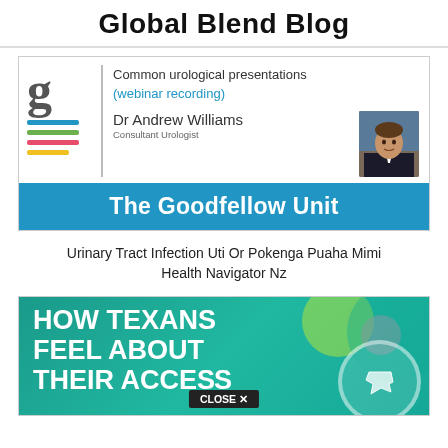Global Blend Blog
[Figure (screenshot): Goodfellow Unit webinar card showing a logo with letter G and colored lines, text 'Common urological presentations', '(webinar recording)', 'Dr Andrew Williams - Consultant Urologist', a photo of the doctor, and a blue banner reading 'The Goodfellow Unit']
Urinary Tract Infection Uti Or Pokenga Puaha Mimi Health Navigator Nz
[Figure (infographic): Teal infographic with bold white text reading 'HOW TEXANS FEEL ABOUT THEIR ACCESS' with decorative circles and a Texas map icon, and a 'CLOSE X' button at the bottom]